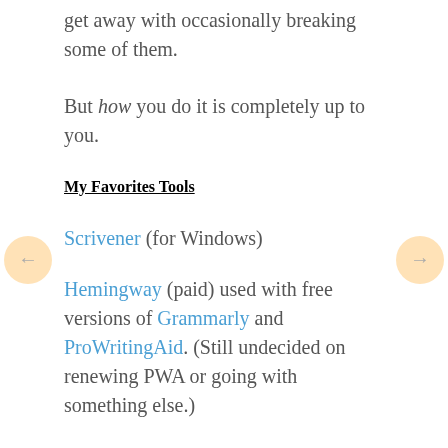get away with occasionally breaking some of them.
But how you do it is completely up to you.
My Favorites Tools
Scrivener (for Windows)
Hemingway (paid) used with free versions of Grammarly and ProWritingAid. (Still undecided on renewing PWA or going with something else.)
Jutoh (formatting)
Adobe Creative Suite (now Creative Cloud).